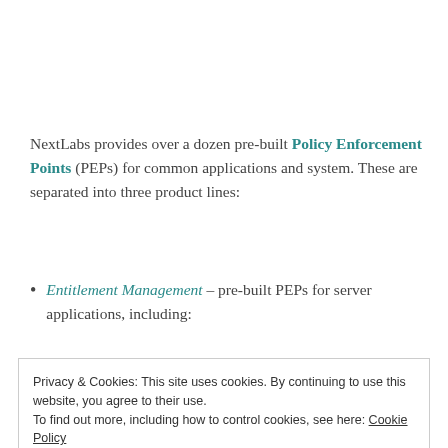NextLabs provides over a dozen pre-built Policy Enforcement Points (PEPs) for common applications and system. These are separated into three product lines:
Entitlement Management – pre-built PEPs for server applications, including:
Privacy & Cookies: This site uses cookies. By continuing to use this website, you agree to their use. To find out more, including how to control cookies, see here: Cookie Policy
Dassault Enovia)